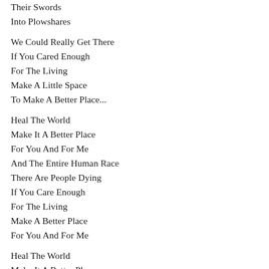Their Swords
Into Plowshares
We Could Really Get There
If You Cared Enough
For The Living
Make A Little Space
To Make A Better Place...
Heal The World
Make It A Better Place
For You And For Me
And The Entire Human Race
There Are People Dying
If You Care Enough
For The Living
Make A Better Place
For You And For Me
Heal The World
Make It A Better Place
For You And For Me
And The Entire Human Race
There Are People Dying
If You Care Enough
For The Living
Make A Better Place
For You And For Me